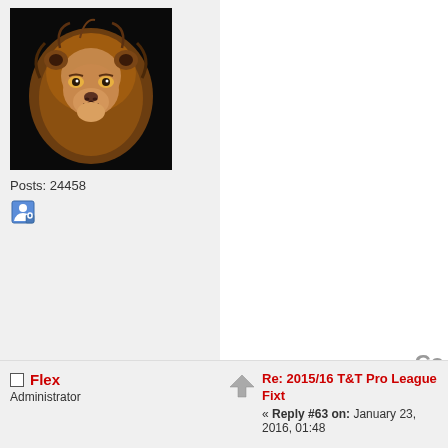[Figure (photo): Avatar image of a lion (brown mane, dark background)]
Posts: 24458
[Figure (illustration): Small blue user/moderator icon]
Co
The Conquering Lion of Judah shall break every
Flex
Administrator
Re: 2015/16 T&T Pro League Fixt
« Reply #63 on: January 23, 2016, 01:48